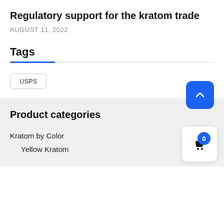Regulatory support for the kratom trade
AUGUST 11, 2022
Tags
USPS
Product categories
Kratom by Color
Yellow Kratom